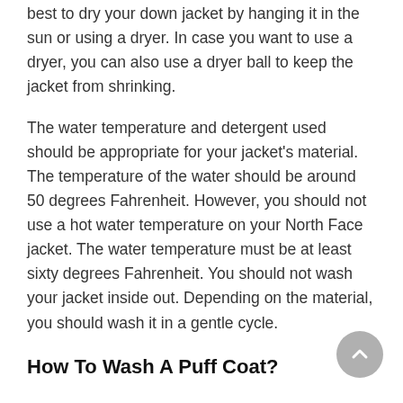best to dry your down jacket by hanging it in the sun or using a dryer. In case you want to use a dryer, you can also use a dryer ball to keep the jacket from shrinking.
The water temperature and detergent used should be appropriate for your jacket's material. The temperature of the water should be around 50 degrees Fahrenheit. However, you should not use a hot water temperature on your North Face jacket. The water temperature must be at least sixty degrees Fahrenheit. You should not wash your jacket inside out. Depending on the material, you should wash it in a gentle cycle.
How To Wash A Puff Coat?